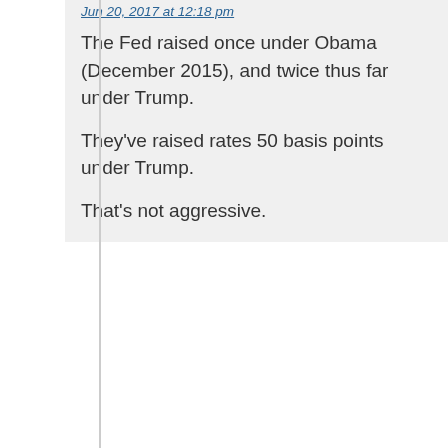Jun 20, 2017 at 12:18 pm
The Fed raised once under Obama (December 2015), and twice thus far under Trump.
They've raised rates 50 basis points under Trump.
That's not aggressive.
Smingles
Jun 20, 2017 at 12:21 pm
*I'm sorry, twice under Obama (December 2015 & 2016) and twice under Trump. You could put the second one under Obama in Trump's column, but I would say they're still far from aggressive